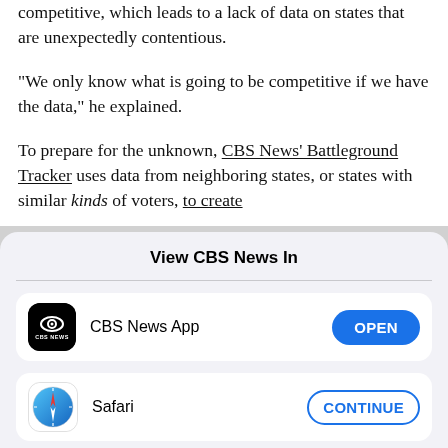competitive, which leads to a lack of data on states that are unexpectedly contentious.
"We only know what is going to be competitive if we have the data," he explained.
To prepare for the unknown, CBS News' Battleground Tracker uses data from neighboring states, or states with similar kinds of voters, to create
View CBS News In
CBS News App
Safari